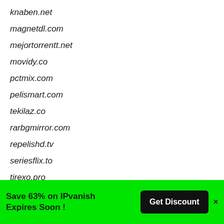knaben.net
magnetdl.com
mejortorrentt.net
movidy.co
pctmix.com
pelismart.com
tekilaz.co
rarbgmirror.com
repelishd.tv
seriesflix.to
tirexo.pro
topstreamfilm.com
torrentdownloads.me
vidcorn.tv
videospider.stream
Save 63% on IPvanish Expires Soon ! Get Discount ×